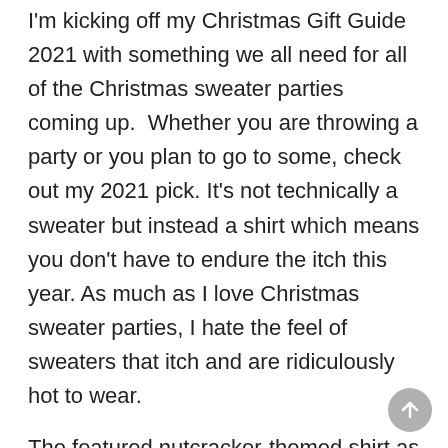I'm kicking off my Christmas Gift Guide 2021 with something we all need for all of the Christmas sweater parties coming up.  Whether you are throwing a party or you plan to go to some, check out my 2021 pick. It's not technically a sweater but instead a shirt which means you don't have to endure the itch this year. As much as I love Christmas sweater parties, I hate the feel of sweaters that itch and are ridiculously hot to wear.
The featured nutcracker-themed shirt as well as all of the items in my video and below photo, are from https://christkindl.live/.  Christkindl is an online Christkindlmarkt that was launched last